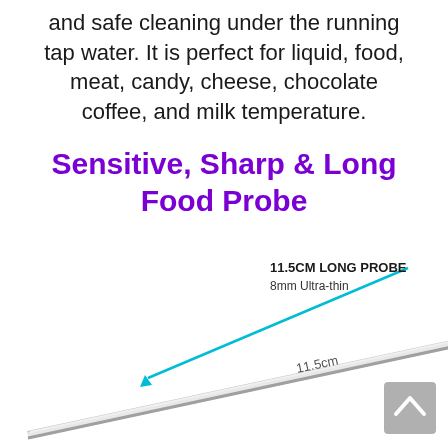and safe cleaning under the running tap water. It is perfect for liquid, food, meat, candy, cheese, chocolate coffee, and milk temperature.
Sensitive, Sharp & Long Food Probe
[Figure (photo): Product photo showing a food thermometer probe. Labels indicate '11.5CM LONG PROBE' and '8mm Ultra-thin'. A diagonal line with '11.5cm' measurement annotation points to the long thin metallic probe. A circular magnified inset shows the ultra-thin tip of the probe.]